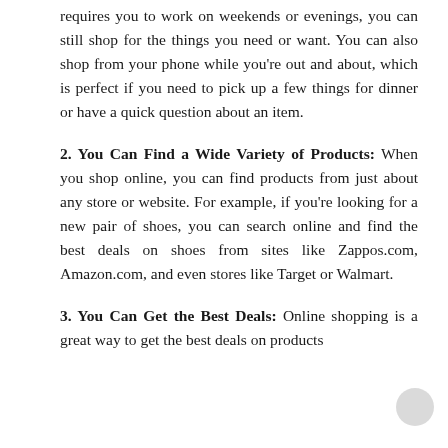requires you to work on weekends or evenings, you can still shop for the things you need or want. You can also shop from your phone while you're out and about, which is perfect if you need to pick up a few things for dinner or have a quick question about an item.
2. You Can Find a Wide Variety of Products: When you shop online, you can find products from just about any store or website. For example, if you're looking for a new pair of shoes, you can search online and find the best deals on shoes from sites like Zappos.com, Amazon.com, and even stores like Target or Walmart.
3. You Can Get the Best Deals: Online shopping is a great way to get the best deals on products